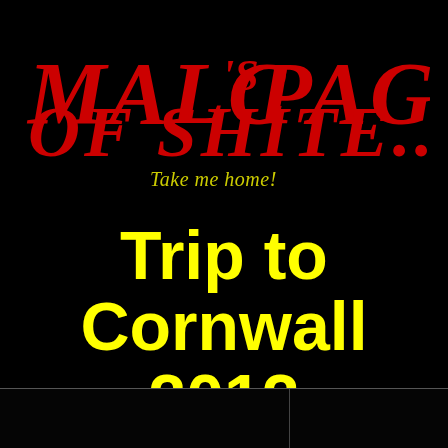MALC'S PAGE OF SHITE....
Take me home!
Trip to Cornwall 2012
[Figure (other): Two dark image placeholder cells arranged side by side at the bottom of the page, separated by a border line]